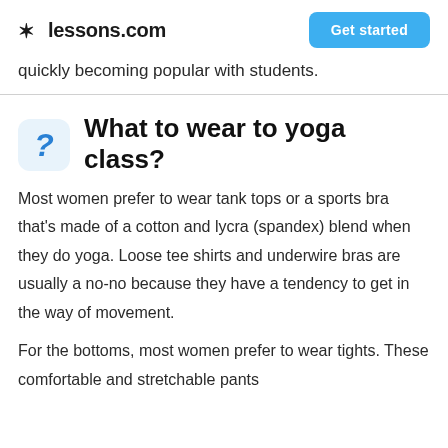lessons.com   Get started
quickly becoming popular with students.
What to wear to yoga class?
Most women prefer to wear tank tops or a sports bra that's made of a cotton and lycra (spandex) blend when they do yoga. Loose tee shirts and underwire bras are usually a no-no because they have a tendency to get in the way of movement.
For the bottoms, most women prefer to wear tights. These comfortable and stretchable pants will...